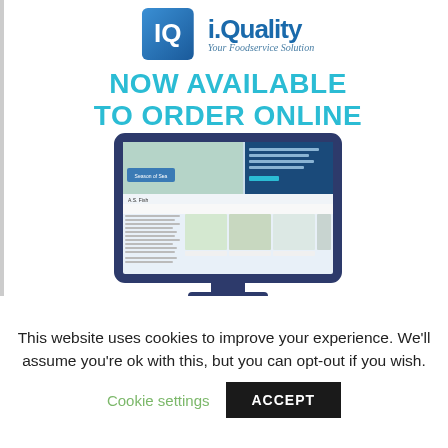[Figure (logo): i.Quality logo with blue square icon containing 'IQ' letters and text 'i.Quality Your Foodservice Solution']
NOW AVAILABLE TO ORDER ONLINE
[Figure (screenshot): A desktop computer monitor displaying the i.Quality / A.S. Fish online ordering website with product images of fish and seafood]
This website uses cookies to improve your experience. We'll assume you're ok with this, but you can opt-out if you wish.
Cookie settings   ACCEPT